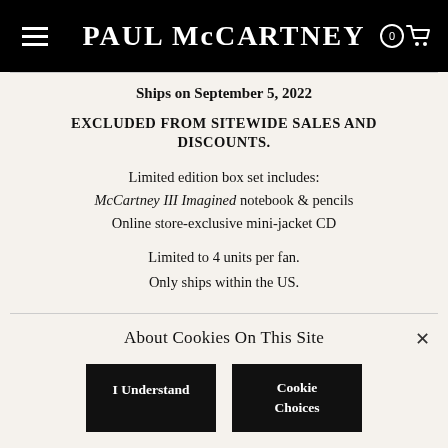PAUL McCARTNEY
Ships on September 5, 2022
EXCLUDED FROM SITEWIDE SALES AND DISCOUNTS.
Limited edition box set includes:
McCartney III Imagined notebook & pencils
Online store-exclusive mini-jacket CD
Limited to 4 units per fan.
Only ships within the US.
About Cookies On This Site
I Understand
Cookie Choices